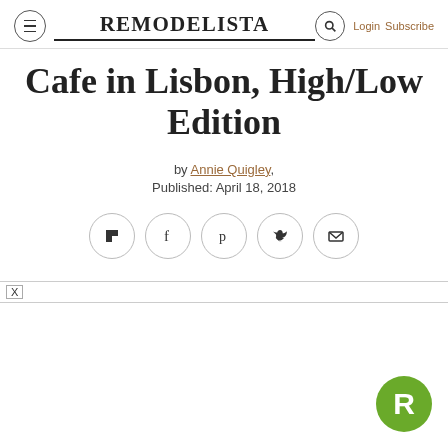REMODELISTA  Login  Subscribe
Cafe in Lisbon, High/Low Edition
by Annie Quigley, Published: April 18, 2018
[Figure (other): Social sharing buttons: Flipboard, Facebook, Pinterest, Twitter, Email]
[Figure (logo): Remodelista R logo in green circle, bottom right corner]